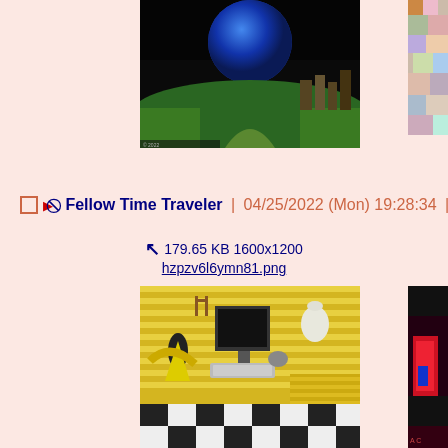[Figure (photo): 3D rendered landscape with a large blue sphere over green terrain with dark background, cropped at top]
[Figure (photo): Partial right-side image showing colorful abstract or floral texture]
□ ▶ ⊘ Fellow Time Traveler | 04/25/2022 (Mon) 19:28:34 |
↖ 179.65 KB 1600x1200
hzpzv6l6ymn81.png
[Figure (photo): 3D rendered indoor scene with yellow striped desk, computer monitor, objects, and checkered floor]
[Figure (photo): Partial right-side image showing a red and dark figure, cropped]